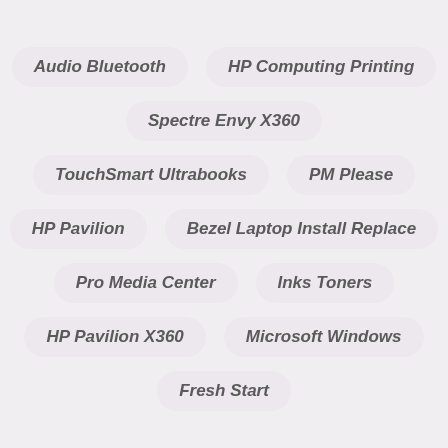Audio Bluetooth
HP Computing Printing
Spectre Envy X360
TouchSmart Ultrabooks
PM Please
HP Pavilion
Bezel Laptop Install Replace
Pro Media Center
Inks Toners
HP Pavilion X360
Microsoft Windows
Fresh Start